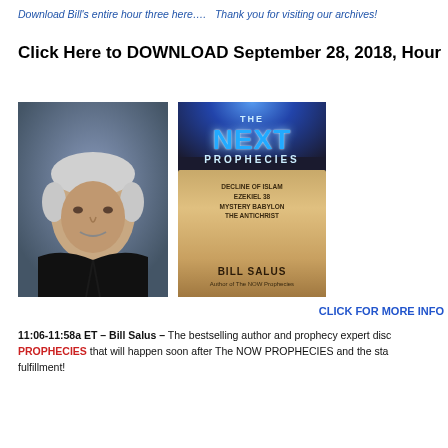Download Bill's entire hour three here….  Thank you for visiting our archives!
Click Here to DOWNLOAD September 28, 2018, Hour
[Figure (photo): Headshot portrait of Bill Salus, a middle-aged man with grey hair wearing a dark jacket]
[Figure (photo): Book cover of 'The Next Prophecies' by Bill Salus. Subtitle topics: Decline of Islam, Ezekiel 38, Mystery Babylon, The Antichrist. Author of The NOW Prophecies.]
CLICK FOR MORE INFO
11:06-11:58a ET – Bill Salus – The bestselling author and prophecy expert disc PROPHECIES that will happen soon after The Now PROPHECIES and the sta fulfillment!